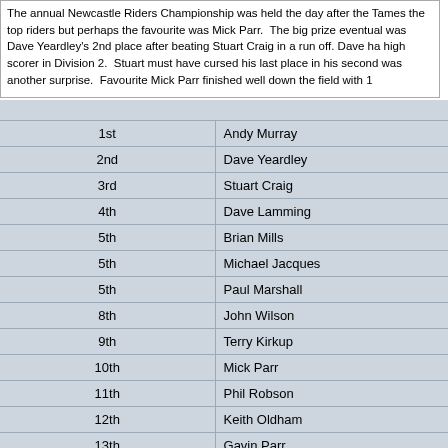The annual Newcastle Riders Championship was held the day after the Tames the top riders but perhaps the favourite was Mick Parr.  The big prize eventual was Dave Yeardley's 2nd place after beating Stuart Craig in a run off. Dave ha high scorer in Division 2.  Stuart must have cursed his last place in his second was another surprise.  Favourite Mick Parr finished well down the field with 1
| Place | Name |
| --- | --- |
| 1st | Andy Murray |
| 2nd | Dave Yeardley |
| 3rd | Stuart Craig |
| 4th | Dave Lamming |
| 5th | Brian Mills |
| 5th | Michael Jacques |
| 5th | Paul Marshall |
| 8th | John Wilson |
| 9th | Terry Kirkup |
| 10th | Mick Parr |
| 11th | Phil Robson |
| 12th | Keith Oldham |
| 13th | Gavin Parr |
| 14th | Martin Heath |
| 14th | Campbell McKiver |
| 16th | Graham Heath |